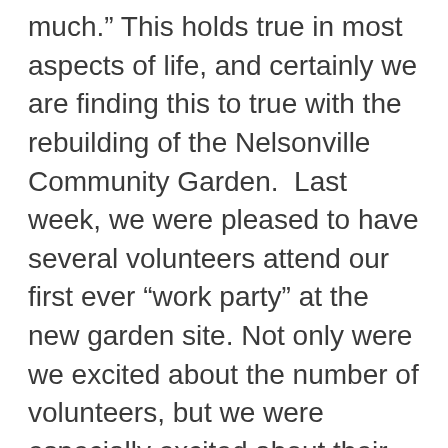much.” This holds true in most aspects of life, and certainly we are finding this to true with the rebuilding of the Nelsonville Community Garden.  Last week, we were pleased to have several volunteers attend our first ever “work party” at the new garden site. Not only were we excited about the number of volunteers, but we were especially excited about their age range: from 5 years young up to over 60 years wise!  What a joy it was to see those young and “old” working together towards a common goal (Turns out kids are actually both excited about and good at